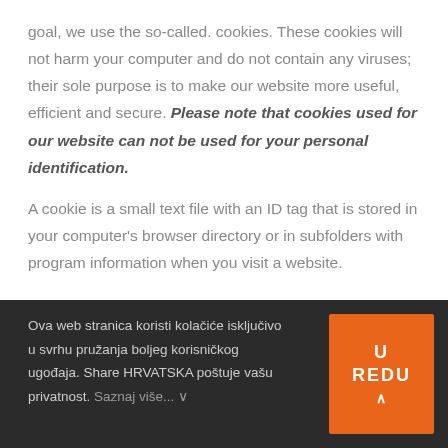goal, we use the so-called. cookies. These cookies will not harm your computer and do not contain any viruses; their sole purpose is to make our website more useful, efficient and secure. Please note that cookies used for our website can not be used for your personal identification.
A cookie is a small text file with an ID tag that is stored in your computer's browser directory or in subfolders with program information when you visit a website.
Ova web stranica koristi kolačiće isključivo u svrhu pružanja boljeg korisničkog ugođaja. Share HRVATSKA poštuje vašu privatnost. Saznaj više... ∨